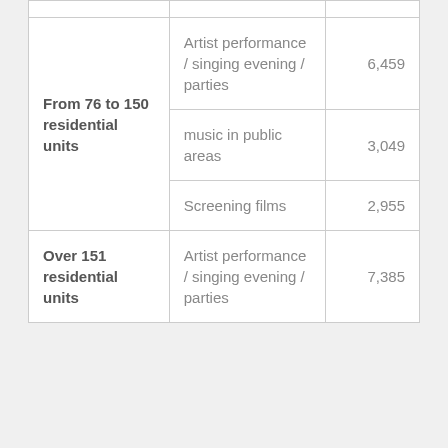|  |  |  |
| --- | --- | --- |
| From 76 to 150 residential units | Artist performance / singing evening / parties | 6,459 |
|  | music in public areas | 3,049 |
|  | Screening films | 2,955 |
| Over 151 residential units | Artist performance / singing evening / parties | 7,385 |